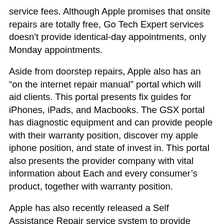service fees. Although Apple promises that onsite repairs are totally free, Go Tech Expert services doesn't provide identical-day appointments, only Monday appointments.
Aside from doorstep repairs, Apple also has an “on the internet repair manual” portal which will aid clients. This portal presents fix guides for iPhones, iPads, and Macbooks. The GSX portal has diagnostic equipment and can provide people with their warranty position, discover my apple iphone position, and state of invest in. This portal also presents the provider company with vital information about Each and every consumer’s product, together with warranty position.
Apple has also recently released a Self Assistance Repair service system to provide sections and equipment for patrons to restore their own products. This services may even give customers the chance to maintenance them selves in the home, and Apple will publish mend manuals and instruments on the web so they can perform the work on